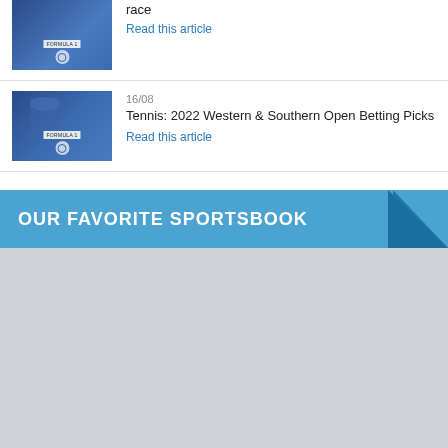race
Read this article
[Figure (photo): Tennis player thumbnail image with blue background and overlay label]
16/08
Tennis: 2022 Western & Southern Open Betting Picks
Read this article
OUR FAVORITE SPORTSBOOK
[Figure (other): Gray placeholder area below sportsbook banner]